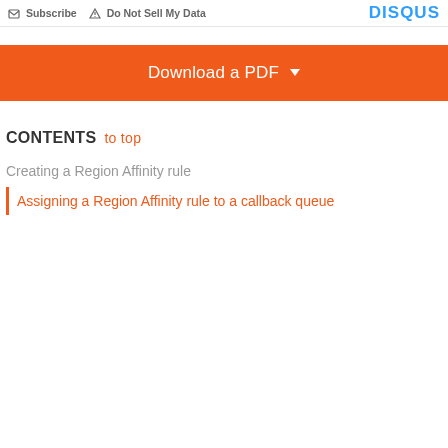Subscribe  Do Not Sell My Data   DISQUS
Download a PDF
CONTENTS  to top
Creating a Region Affinity rule
Assigning a Region Affinity rule to a callback queue